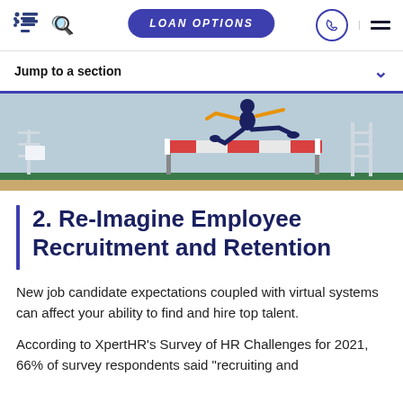LOAN OPTIONS navigation bar with logo, search, loan options button, phone icon, and hamburger menu
Jump to a section
[Figure (illustration): Illustration of a person jumping over a hurdle/barrier with red and white stripes, set against a light blue background with white fence-like structures on the sides and a green and tan ground.]
2. Re-Imagine Employee Recruitment and Retention
New job candidate expectations coupled with virtual systems can affect your ability to find and hire top talent.
According to XpertHR’s Survey of HR Challenges for 2021, 66% of survey respondents said “recruiting and